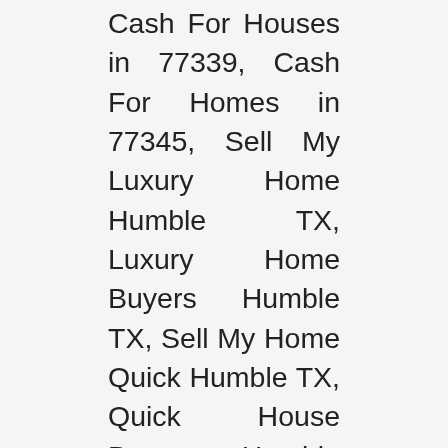Cash For Houses in 77339, Cash For Homes in 77345, Sell My Luxury Home Humble TX, Luxury Home Buyers Humble TX, Sell My Home Quick Humble TX, Quick House Buyer Humble TX, Ugly House Buyer Humble TX, Real Estate Humble TX, Humble TX Real Estate, Humble TX Real Estate Investor, Save My Home Humble, Humble TX Home Buyers, Cash Offer For Humble TX Homes, Cash Offer For Houses Humble TX, Stop Foreclosure in Humble TX, Avoid Foreclosure Humble TX, Prevent Foreclosure Humble TX, Stop My Foreclosure Humble TX, Foreclosure Prevention Humble TX, Short Sale Specialist Humble TX, Short Sales Humble TX, Loan Modification Humble TX, Humble TX Short Sales, Save My House Humble TX, Save My